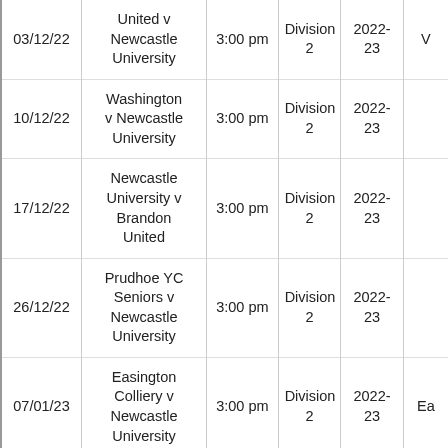| Date | Match | Time | Division | Season | Note |
| --- | --- | --- | --- | --- | --- |
| 03/12/22 | United v Newcastle University | 3:00 pm | Division 2 | 2022-23 | V |
| 10/12/22 | Washington v Newcastle University | 3:00 pm | Division 2 | 2022-23 |  |
| 17/12/22 | Newcastle University v Brandon United | 3:00 pm | Division 2 | 2022-23 |  |
| 26/12/22 | Prudhoe YC Seniors v Newcastle University | 3:00 pm | Division 2 | 2022-23 |  |
| 07/01/23 | Easington Colliery v Newcastle University | 3:00 pm | Division 2 | 2022-23 | Ea |
|  | Newcastle University v ... |  | Division | 2022- |  |